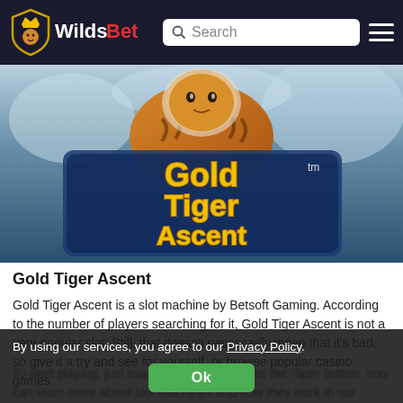WildsBet — Search bar — Hamburger menu
[Figure (illustration): Gold Tiger Ascent slot machine game banner showing a tiger character with the stylized game logo 'Gold Tiger Ascent' in gold and blue letters on a blue/grey background]
Gold Tiger Ascent
Gold Tiger Ascent is a slot machine by Betsoft Gaming. According to the number of players searching for it, Gold Tiger Ascent is not a very popular slot. Still, that doesn't necessarily mean that it's bad, so give it a try and see for yourself, or browse popular casino games.
To start playing, just load the game and press the 'Spin' button. You can learn more about slot machines and how they work in our online slots guide.
By using our services, you agree to our Privacy Policy.